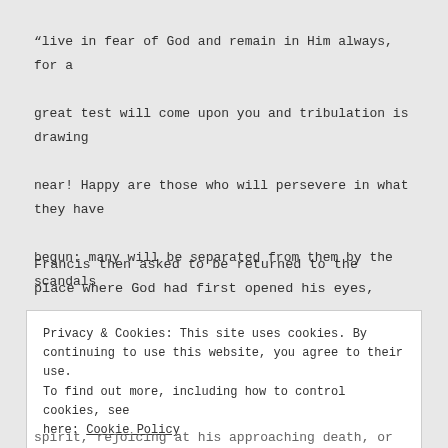“live in fear of God and remain in Him always, for a great test will come upon you and tribulation is drawing near! Happy are those who will persevere in what they have begun: many will be separated from them by the scandals that are to come. But now I am hurrying to the Lord and I am confidant that I am going to my God whom I have served in my spirit.”31
Francis then asked to be returned to the place where God had first opened his eyes,
Privacy & Cookies: This site uses cookies. By continuing to use this website, you agree to their use. To find out more, including how to control cookies, see here: Cookie Policy

Close and accept
spirit, rejoicing at his approaching death, or rather at